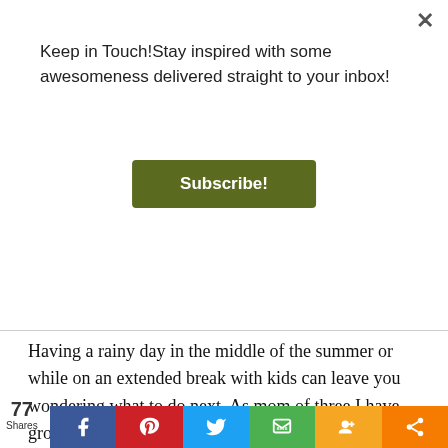Keep in Touch! Stay inspired with some awesomeness delivered straight to your inbox!
Subscribe!
Having a rainy day in the middle of the summer or while on an extended break with kids can leave you wondering what to do next. As mom of three I have grown to love and enjoy all the activities + fun times that are created by visiting a local library. The library is the perfect rainy day activity.
Privacy & Cookies: This site uses cookies. By continuing to use this website, you agree to their use. To find out more, including how to control cookies, see here: Cookie Policy
Close and accept
77 Shares